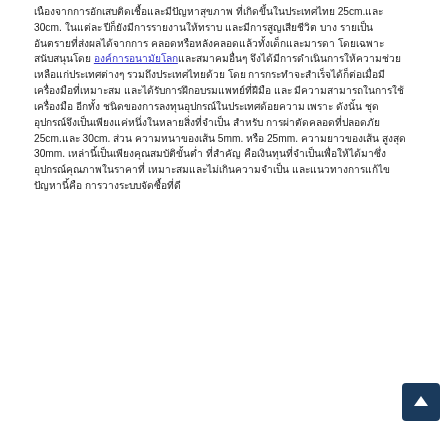Thai medical text describing measurements including 25cm. and 30cm. with a hyperlink, and further mentions of 25cm., 30cm., 5mm., 25mm., 30mm. measurements in a medical context.